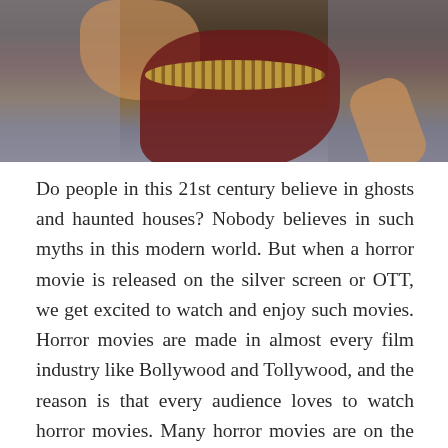[Figure (photo): A woman wearing a maroon and gold saree, cropped photo showing upper body, with gray/blue background]
Do people in this 21st century believe in ghosts and haunted houses? Nobody believes in such myths in this modern world. But when a horror movie is released on the silver screen or OTT, we get excited to watch and enjoy such movies. Horror movies are made in almost every film industry like Bollywood and Tollywood, and the reason is that every audience loves to watch horror movies. Many horror movies are on the OTT platform, and you can watch movies online through the OTT platforms on your devices.
One such horror movie Petromax is available on aha for its viewers. It is a Tamil language movie directed by Rohit